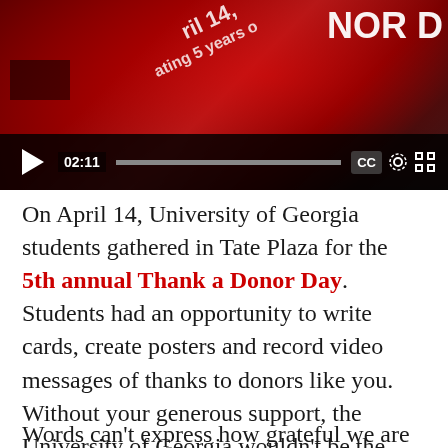[Figure (screenshot): Video player showing a student holding a red poster with text 'April 14' and 'celebrating 5 years' and 'HONOR D' visible. Video controls show play button, timestamp 02:11, progress bar, CC, settings gear, and fullscreen icons.]
On April 14, University of Georgia students gathered in Tate Plaza for the 5th annual Thank a Donor Day. Students had an opportunity to write cards, create posters and record video messages of thanks to donors like you. Without your generous support, the University of Georgia wouldn't be the incredible place it is today.
Words can't express how grateful we are for